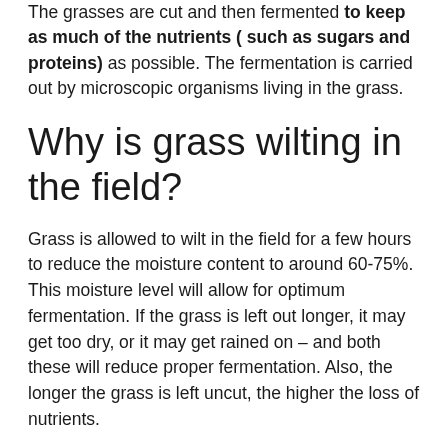The grasses are cut and then fermented to keep as much of the nutrients ( such as sugars and proteins) as possible. The fermentation is carried out by microscopic organisms living in the grass.
Why is grass wilting in the field?
Grass is allowed to wilt in the field for a few hours to reduce the moisture content to around 60-75%. This moisture level will allow for optimum fermentation. If the grass is left out longer, it may get too dry, or it may get rained on – and both these will reduce proper fermentation. Also, the longer the grass is left uncut, the higher the loss of nutrients.